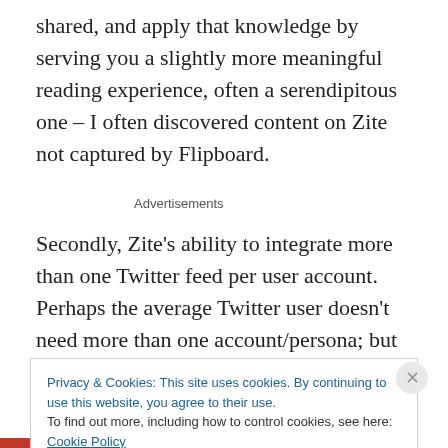shared, and apply that knowledge by serving you a slightly more meaningful reading experience, often a serendipitous one – I often discovered content on Zite not captured by Flipboard.
Advertisements
Secondly, Zite's ability to integrate more than one Twitter feed per user account. Perhaps the average Twitter user doesn't need more than one account/persona; but many
Privacy & Cookies: This site uses cookies. By continuing to use this website, you agree to their use.
To find out more, including how to control cookies, see here: Cookie Policy
Close and accept